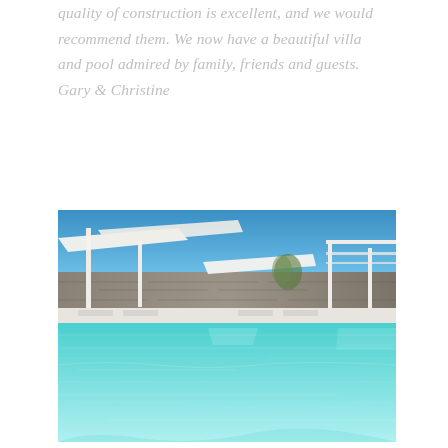quality of construction is excellent, and we would recommend them. We now have a beautiful villa and pool admired by family, friends and guests. Gary & Christine
[Figure (photo): Outdoor swimming pool with clear turquoise water in the foreground, white lounge chairs and large white umbrellas on a terrace, stone wall in the background, and blue sky above.]